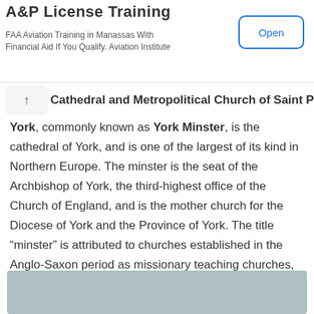A&P License Training
FAA Aviation Training in Manassas With Financial Aid If You Qualify. Aviation Institute
Cathedral and Metropolitical Church of Saint Peter in York, commonly known as York Minster, is the cathedral of York, and is one of the largest of its kind in Northern Europe. The minster is the seat of the Archbishop of York, the third-highest office of the Church of England, and is the mother church for the Diocese of York and the Province of York. The title “minster” is attributed to churches established in the Anglo-Saxon period as missionary teaching churches, and serves now as an honorific title. The minster was completed in 1472 after several centuries of building and is devoted to Saint Peter.
[Figure (photo): Partial view of York Minster exterior, grey sky background]